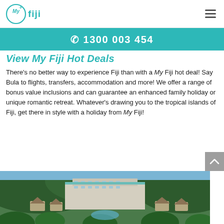My Fiji (logo) — navigation hamburger menu
☎ 1300 003 454
View My Fiji Hot Deals
There's no better way to experience Fiji than with a My Fiji hot deal! Say Bula to flights, transfers, accommodation and more! We offer a range of bonus value inclusions and can guarantee an enhanced family holiday or unique romantic retreat. Whatever's drawing you to the tropical islands of Fiji, get there in style with a holiday from My Fiji!
[Figure (photo): Aerial view of a Fiji resort with large hotel building, tropical gardens, thatched-roof bungalows, pool, and forested hills in background]